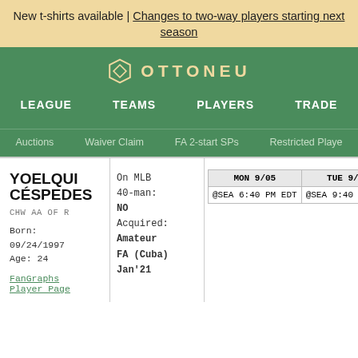New t-shirts available | Changes to two-way players starting next season
[Figure (logo): Ottoneu logo with diamond/octagon icon and text OTTONEU]
LEAGUE  TEAMS  PLAYERS  TRADE
Auctions  Waiver Claim  FA 2-start SPs  Restricted Players
YOELQUI CÉSPEDES
CHW AA OF R
Born: 09/24/1997
Age: 24
FanGraphs Player Page
On MLB 40-man: NO
Acquired: Amateur FA (Cuba) Jan'21
| MON 9/05 | TUE 9/06 | WED |
| --- | --- | --- |
| @SEA 6:40 PM EDT | @SEA 9:40 PM EDT | @SEA 4 |